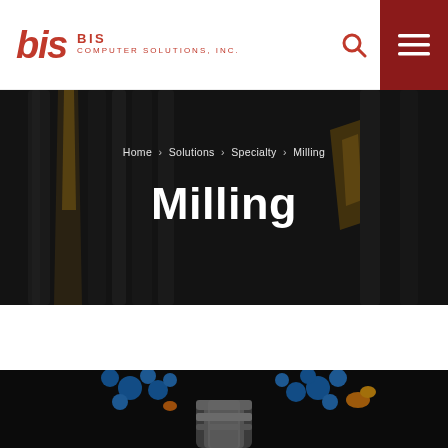BIS COMPUTER SOLUTIONS, INC.
[Figure (screenshot): Hero banner with milling drill bits in dark background showing breadcrumb navigation Home > Solutions > Specialty > Milling and large Milling title text]
Home > Solutions > Specialty > Milling
Milling
[Figure (photo): Close-up photo of a CNC milling machine spindle with blue coolant sprays and yellow sparks on a dark background]